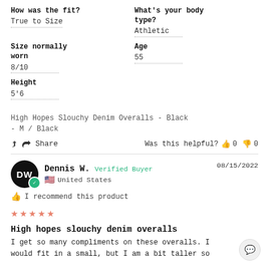How was the fit?
True to Size
What's your body type?
Athletic
Size normally worn
8/10
Age
55
Height
5'6
High Hopes Slouchy Denim Overalls - Black - M / Black
Share   Was this helpful?  👍 0  👎 0
Dennis W.  Verified Buyer  08/15/2022
🇺🇸 United States
I recommend this product
★★★★★
High hopes slouchy denim overalls
I get so many compliments on these overalls. I would fit in a small, but I am a bit taller so